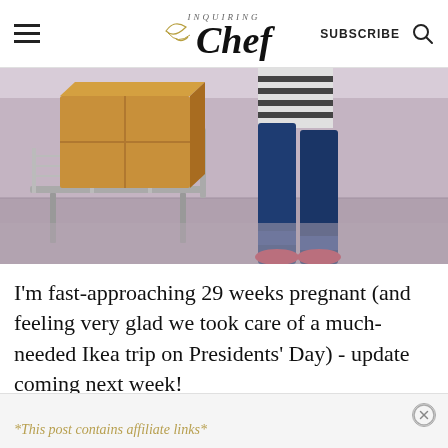Inquiring Chef — SUBSCRIBE (search icon)
[Figure (photo): Person in jeans and red shoes pushing a shopping cart/trolley loaded with a large cardboard box in a warehouse (IKEA store)]
I'm fast-approaching 29 weeks pregnant (and feeling very glad we took care of a much-needed Ikea trip on Presidents' Day) - update coming next week!
*This post contains affiliate links*